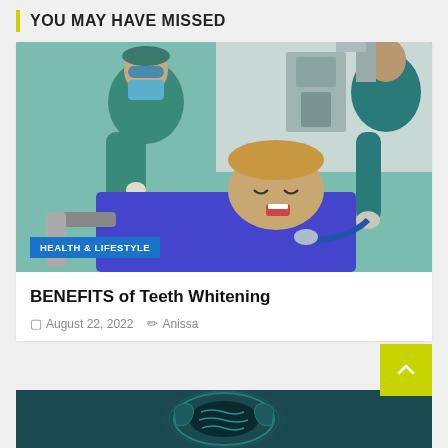YOU MAY HAVE MISSED
[Figure (photo): Dental procedure photo showing two medical professionals in teal scrubs and surgical masks performing a teeth whitening or dental procedure on a patient lying in a dental chair wearing a blue bib. Medical equipment visible in background.]
HEALTH & LIFESTYLE
BENEFITS of Teeth Whitening
August 22, 2022   Anissa
[Figure (photo): MRI brain scan cross-section image with teal/dark blue coloring showing brain anatomy.]